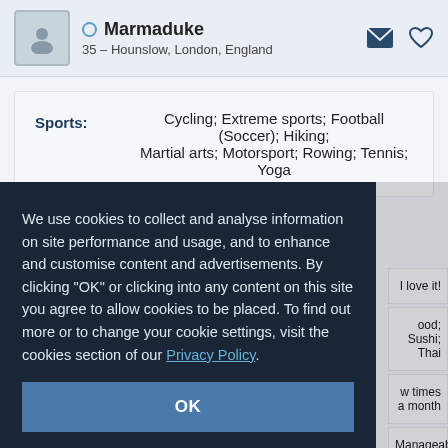Marmaduke – 35 – Hounslow, London, England
Sports: Cycling; Extreme sports; Football (Soccer); Hiking; Martial arts; Motorsport; Rowing; Tennis; Yoga
We use cookies to collect and analyse information on site performance and usage, and to enhance and customise content and advertisements. By clicking "OK" or clicking into any content on this site you agree to allow cookies to be placed. To find out more or to change your cookie settings, visit the cookies section of our Privacy Policy.
OK
I love it!
ood; Sushi; Thai
w times a month
Manageable